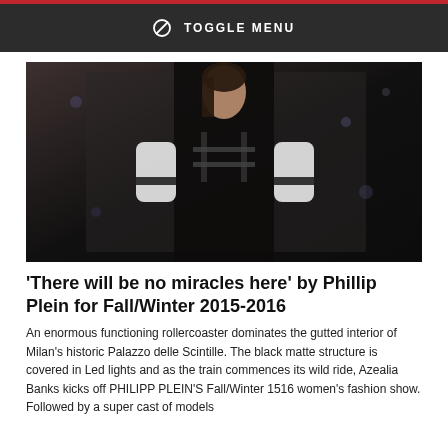TOGGLE MENU
[Figure (photo): Fashion model on runway wearing black leather harness top and black-and-white bomber jacket for Phillip Plein Fall/Winter 2015-2016 show]
'There will be no miracles here' by Phillip Plein for Fall/Winter 2015-2016
An enormous functioning rollercoaster dominates the gutted interior of Milan's historic Palazzo delle Scintille. The black matte structure is covered in Led lights and as the train commences its wild ride, Azealia Banks kicks off PHILIPP PLEIN'S Fall/Winter 1516 women's fashion show. Followed by a super cast of models